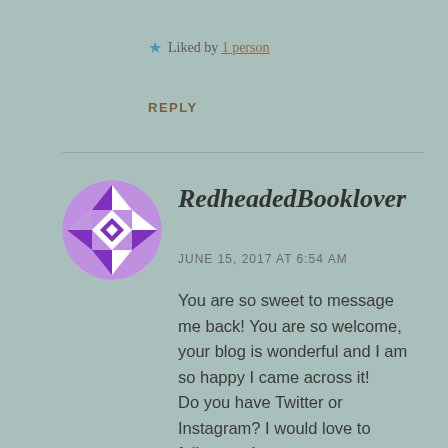★ Liked by 1 person
REPLY
[Figure (illustration): Circular avatar with purple and white geometric/diamond pattern design]
RedheadedBooklover
JUNE 15, 2017 AT 6:54 AM
You are so sweet to message me back! You are so welcome, your blog is wonderful and I am so happy I came across it!
Do you have Twitter or Instagram? I would love to follow you!
And thank you so much!